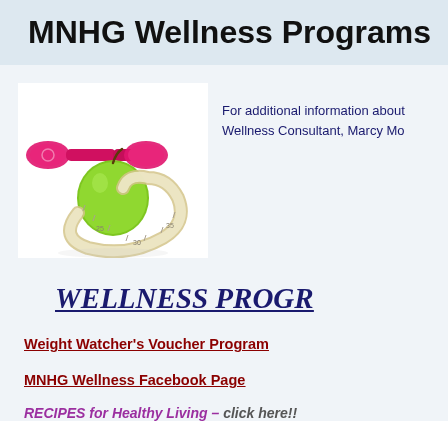MNHG Wellness Programs
[Figure (photo): Pink dumbbells, a green apple, and a measuring tape arranged together on a white background.]
For additional information about Wellness Consultant, Marcy Mo
WELLNESS PROGR
Weight Watcher's Voucher Program
MNHG Wellness Facebook Page
RECIPES for Healthy Living – click here!!